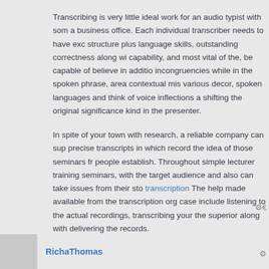Transcribing is very little ideal work for an audio typist with som a business office. Each individual transcriber needs to have exc structure plus language skills, outstanding correctness along wi capability, and most vital of the, be capable of believe in additio incongruencies while in the spoken phrase, area contextual mis various decor, spoken languages and think of voice inflections a shifting the original significance kind in the presenter.
In spite of your town with research, a reliable company can sup precise transcripts in which record the idea of those seminars fr people establish. Throughout simple lecturer training seminars, with the target audience and also can take issues from their sto transcription The help made available from the transcription org case include listening to the actual recordings, transcribing your the superior along with delivering the records.
RichaThomas